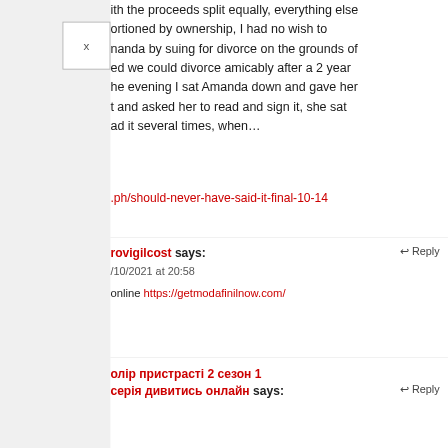[Figure (other): Close/X button box in upper left area]
ith the proceeds split equally, everything else ortioned by ownership, I had no wish to nanda by suing for divorce on the grounds of ed we could divorce amicably after a 2 year he evening I sat Amanda down and gave her t and asked her to read and sign it, she sat ad it several times, when…
.ph/should-never-have-said-it-final-10-14
rovigilcost says:
Reply
/10/2021 at 20:58
online https://getmodafinilnow.com/
олір пристрасті 2 сезон 1 серія дивитись онлайн says:
Reply